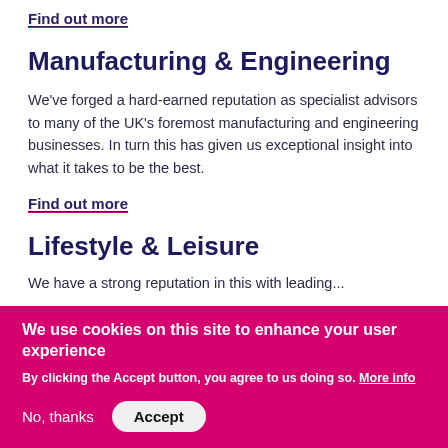Find out more
Manufacturing & Engineering
We've forged a hard-earned reputation as specialist advisors to many of the UK's foremost manufacturing and engineering businesses. In turn this has given us exceptional insight into what it takes to be the best.
Find out more
Lifestyle & Leisure
We use cookies on this site to enhance your user experience
By clicking the Accept button, you agree to us doing so. More info